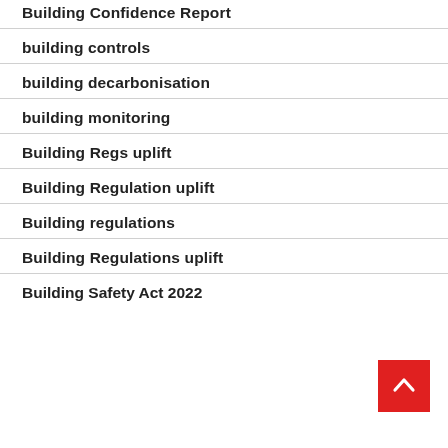Building Confidence Report
building controls
building decarbonisation
building monitoring
Building Regs uplift
Building Regulation uplift
Building regulations
Building Regulations uplift
Building Safety Act 2022